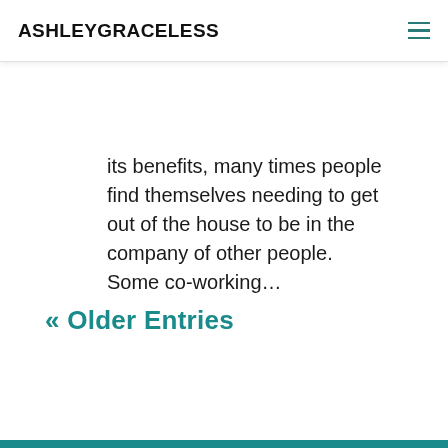ASHLEYGRACELESS
its benefits, many times people find themselves needing to get out of the house to be in the company of other people. Some co-working…
« Older Entries